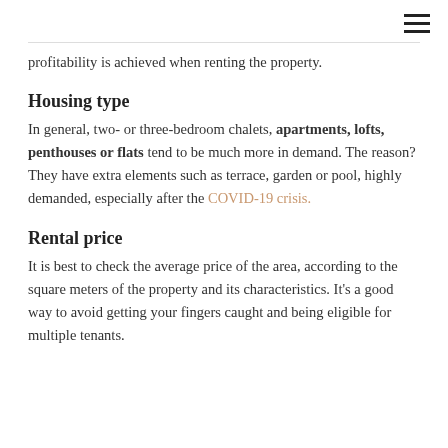≡
profitability is achieved when renting the property.
Housing type
In general, two- or three-bedroom chalets, apartments, lofts, penthouses or flats tend to be much more in demand. The reason? They have extra elements such as terrace, garden or pool, highly demanded, especially after the COVID-19 crisis.
Rental price
It is best to check the average price of the area, according to the square meters of the property and its characteristics. It's a good way to avoid getting your fingers caught and being eligible for multiple tenants.